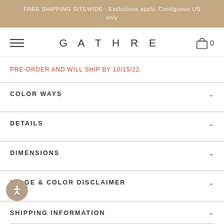FREE SHIPPING SITEWIDE · Exclusions apply. Contiguous US only
GATHRE
PRE-ORDER AND WILL SHIP BY 10/15/22.
COLOR WAYS
DETAILS
DIMENSIONS
IMAGE & COLOR DISCLAIMER
SHIPPING INFORMATION